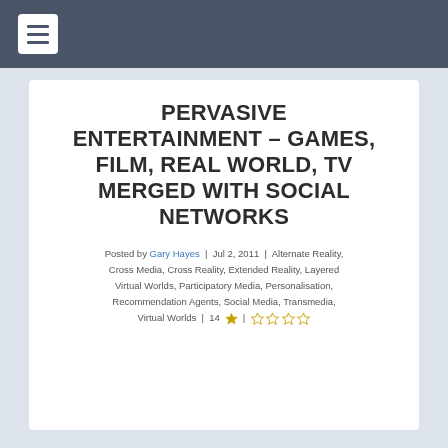≡ (hamburger menu icon)
PERVASIVE ENTERTAINMENT – GAMES, FILM, REAL WORLD, TV MERGED WITH SOCIAL NETWORKS
Posted by Gary Hayes | Jul 2, 2011 | Alternate Reality, Cross Media, Cross Reality, Extended Reality, Layered Virtual Worlds, Participatory Media, Personalisation, Recommendation Agents, Social Media, Transmedia, Virtual Worlds | 14 💬 | ★☆☆☆☆